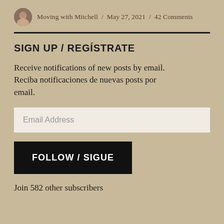Moving with Mitchell / May 27, 2021 / 42 Comments
SIGN UP / REGÍSTRATE
Receive notifications of new posts by email. Reciba notificaciones de nuevas posts por email.
Email Address
FOLLOW / SIGUE
Join 582 other subscribers